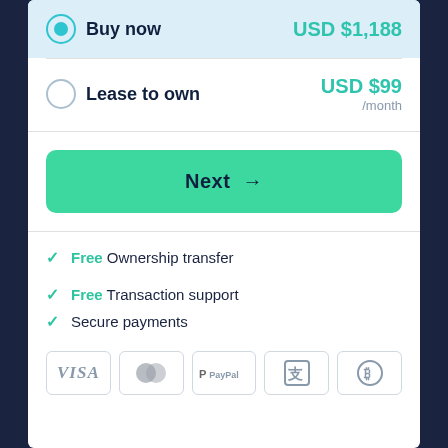Buy now — USD $1,188
Lease to own — USD $99 /month
Next →
Free Ownership transfer
Free Transaction support
Secure payments
[Figure (other): Payment method icons: VISA, Mastercard, PayPal, Alipay, Bitcoin]